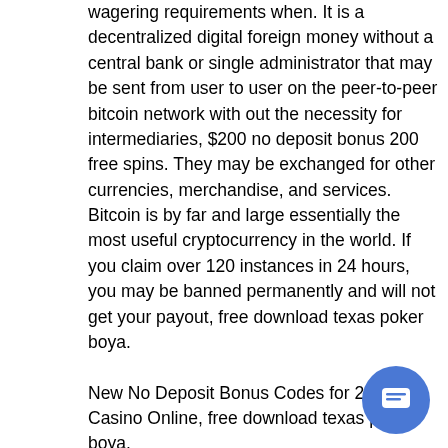wagering requirements when. It is a decentralized digital foreign money without a central bank or single administrator that may be sent from user to user on the peer-to-peer bitcoin network with out the necessity for intermediaries, $200 no deposit bonus 200 free spins. They may be exchanged for other currencies, merchandise, and services. Bitcoin is by far and large essentially the most useful cryptocurrency in the world. If you claim over 120 instances in 24 hours, you may be banned permanently and will not get your payout, free download texas poker boya.
New No Deposit Bonus Codes for 2021 - Casino Online, free download texas poker boya.
It offers a secure, fast and convenient payment method for gamblers of online casinos. How To Start Using Paysafecard? To start using this platform, a Paysafecard account is required. Hence, signing up...
[Figure (other): Blue circular chat/message button icon in the bottom right corner]